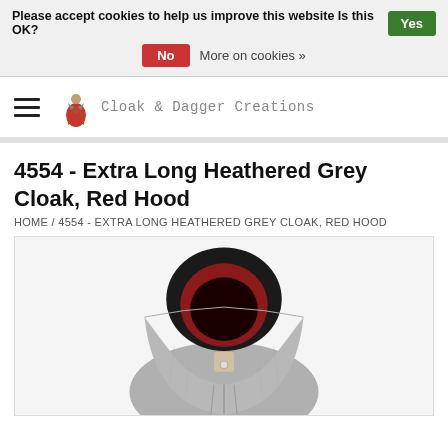Please accept cookies to help us improve this website Is this OK?   Yes
No   More on cookies »
[Figure (logo): Cloak & Dagger Creations logo with cloaked figure and site name]
4554 - Extra Long Heathered Grey Cloak, Red Hood
HOME / 4554 - EXTRA LONG HEATHERED GREY CLOAK, RED HOOD
[Figure (photo): Product photo of a heathered grey cloak with red-lined hood on a mannequin, viewed from front]